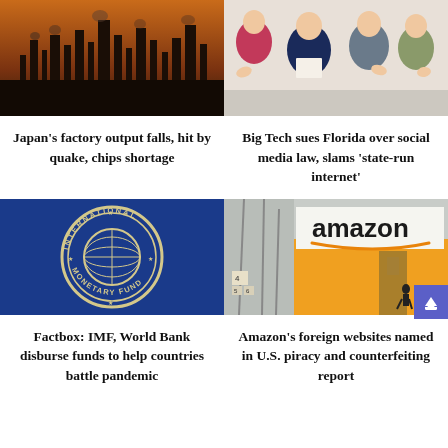[Figure (photo): Industrial oil refinery at dusk with towers and pipelines silhouetted against an orange sky]
[Figure (photo): Group of people applauding a man in a suit holding up a signed document]
Japan's factory output falls, hit by quake, chips shortage
Big Tech sues Florida over social media law, slams 'state-run internet'
[Figure (photo): International Monetary Fund logo — circular emblem on blue background]
[Figure (photo): Amazon warehouse building with large amazon logo and orange facade]
Factbox: IMF, World Bank disburse funds to help countries battle pandemic
Amazon's foreign websites named in U.S. piracy and counterfeiting report